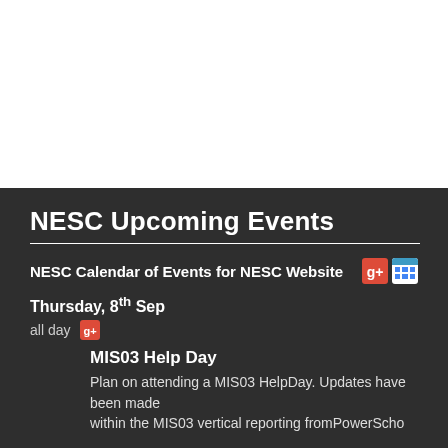NESC Upcoming Events
NESC Calendar of Events for NESC Website
Thursday, 8th Sep
all day
MIS03 Help Day
Plan on attending a MIS03 HelpDay. Updates have been made within the MIS03 vertical reporting fromPowerScho...